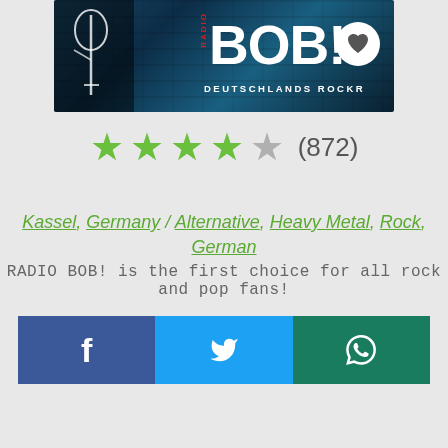[Figure (photo): Radio BOB! station banner image with blue brick wall background, microphone graphic, RADIO BOB! logo text, and 'DEUTSCHLANDS ROCKR' subtitle with a white heart button overlay]
★★★★☆ (872)
Kassel, Germany / Alternative, Heavy Metal, Rock, German
RADIO BOB! is the first choice for all rock and pop fans!
[Figure (infographic): Social sharing buttons: Facebook (dark blue with f), Twitter (light blue with bird icon), WhatsApp (dark green with phone icon)]